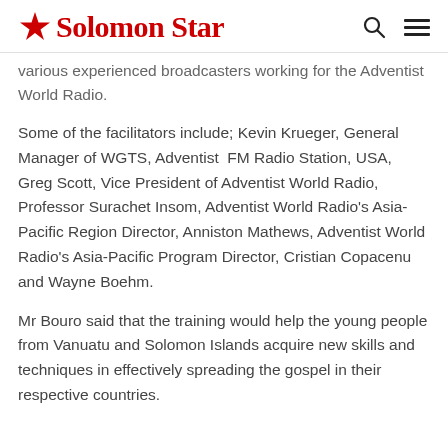Solomon Star
various experienced broadcasters working for the Adventist World Radio.
Some of the facilitators include; Kevin Krueger, General Manager of WGTS, Adventist FM Radio Station, USA, Greg Scott, Vice President of Adventist World Radio, Professor Surachet Insom, Adventist World Radio's Asia-Pacific Region Director, Anniston Mathews, Adventist World Radio's Asia-Pacific Program Director, Cristian Copacenu and Wayne Boehm.
Mr Bouro said that the training would help the young people from Vanuatu and Solomon Islands acquire new skills and techniques in effectively spreading the gospel in their respective countries.